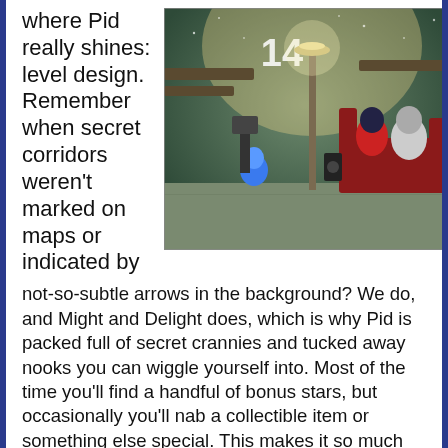where Pid really shines: level design. Remember when secret corridors weren't marked on maps or indicated by
[Figure (screenshot): A screenshot from the video game Pid showing a character in a dimly lit room with a lamp post, shelves, and enemy characters sitting in a red chair area. A number '14' is visible at the top.]
not-so-subtle arrows in the background? We do, and Might and Delight does, which is why Pid is packed full of secret crannies and tucked away nooks you can wiggle yourself into. Most of the time you'll find a handful of bonus stars, but occasionally you'll nab a collectible item or something else special. This makes it so much more fun to explore Pid's worlds instead of just dashing through to the exit.